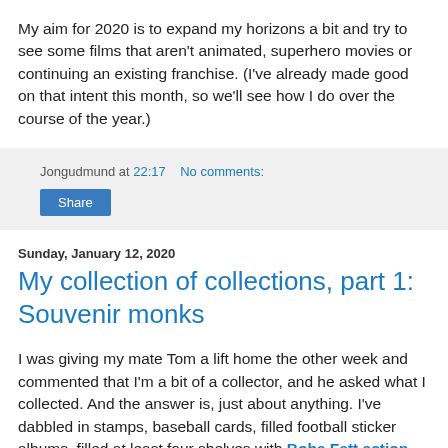My aim for 2020 is to expand my horizons a bit and try to see some films that aren't animated, superhero movies or continuing an existing franchise. (I've already made good on that intent this month, so we'll see how I do over the course of the year.)
Jongudmund at 22:17   No comments:
Share
Sunday, January 12, 2020
My collection of collections, part 1: Souvenir monks
I was giving my mate Tom a lift home the other week and commented that I'm a bit of a collector, and he asked what I collected. And the answer is, just about anything. I've dabbled in stamps, baseball cards, filled football sticker albums, filled at least four shelves with Boba Fett action